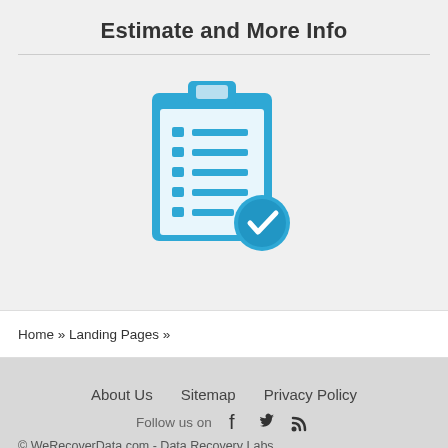Estimate and More Info
[Figure (illustration): Blue clipboard icon with checklist lines and a blue checkmark badge in the lower right corner]
Home » Landing Pages »
About Us   Sitemap   Privacy Policy
Follow us on
© WeRecoverData.com - Data Recovery Labs